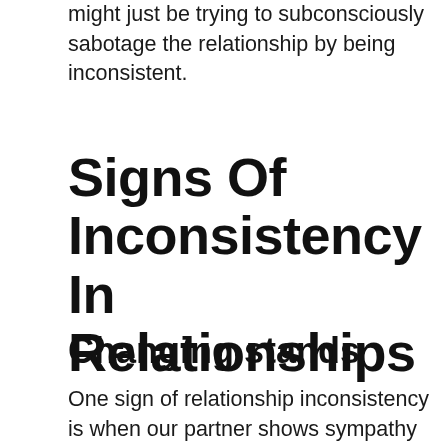might just be trying to subconsciously sabotage the relationship by being inconsistent.
Signs Of Inconsistency In Relationships
Changing stands
One sign of relationship inconsistency is when our partner shows sympathy for us one moment but is cold and distant the next. This can be confusing and hurtful. If our partners cannot be consistent in their behavior, it is difficult to trust them and build